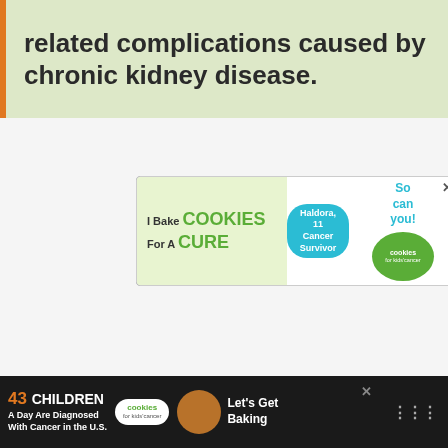related complications caused by chronic kidney disease.
[Figure (infographic): Advertisement banner: 'I Bake COOKIES For A CURE' with image of child Haldora, 11 Cancer Survivor, green circle cookies for kids cancer logo, text 'So can you!']
[Figure (infographic): Bottom advertisement bar: '43 CHILDREN A Day Are Diagnosed With Cancer in the U.S.' with Cookies for Kids Cancer logo and 'Let's Get Baking' text on dark background]